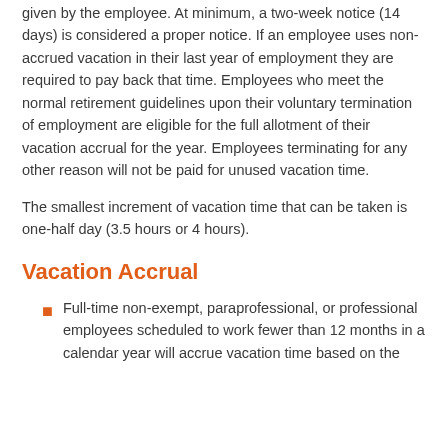given by the employee. At minimum, a two-week notice (14 days) is considered a proper notice. If an employee uses non-accrued vacation in their last year of employment they are required to pay back that time. Employees who meet the normal retirement guidelines upon their voluntary termination of employment are eligible for the full allotment of their vacation accrual for the year. Employees terminating for any other reason will not be paid for unused vacation time.
The smallest increment of vacation time that can be taken is one-half day (3.5 hours or 4 hours).
Vacation Accrual
Full-time non-exempt, paraprofessional, or professional employees scheduled to work fewer than 12 months in a calendar year will accrue vacation time based on the